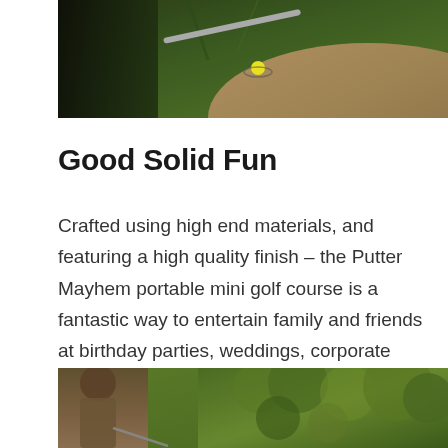[Figure (photo): Aerial/overhead view of a mini golf course showing green grass, a golf club, a yellow ball, and a dirt/sand area path]
Good Solid Fun
Crafted using high end materials, and featuring a high quality finish – the Putter Mayhem portable mini golf course is a fantastic way to entertain family and friends at birthday parties, weddings, corporate events and even festivals.
[Figure (photo): Person playing mini golf with a hedge/green foliage background]